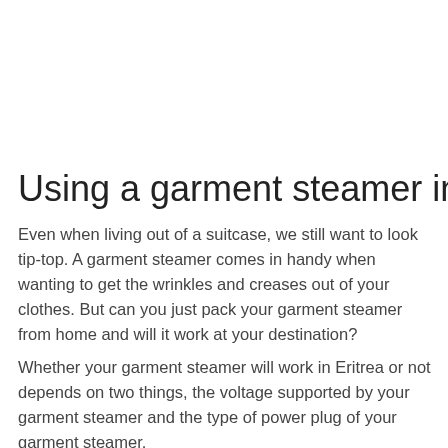Using a garment steamer in Eritrea
Even when living out of a suitcase, we still want to look tip-top. A garment steamer comes in handy when wanting to get the wrinkles and creases out of your clothes. But can you just pack your garment steamer from home and will it work at your destination?
Whether your garment steamer will work in Eritrea or not depends on two things, the voltage supported by your garment steamer and the type of power plug of your garment steamer.